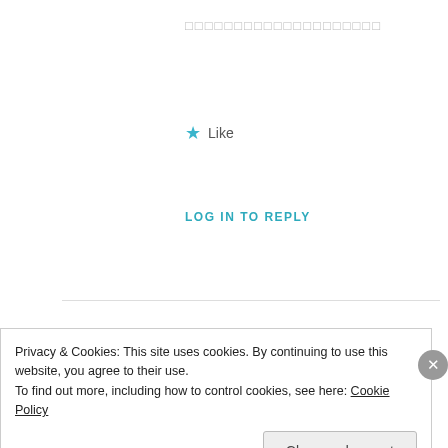□□□□□□□□□□□□□□□□□□□□
★ Like
LOG IN TO REPLY
good quality green tea
MARCH 31, 2017 AT 5:05 AM
I drop a comment whenever I appreciate a
Privacy & Cookies: This site uses cookies. By continuing to use this website, you agree to their use.
To find out more, including how to control cookies, see here: Cookie Policy
Close and accept